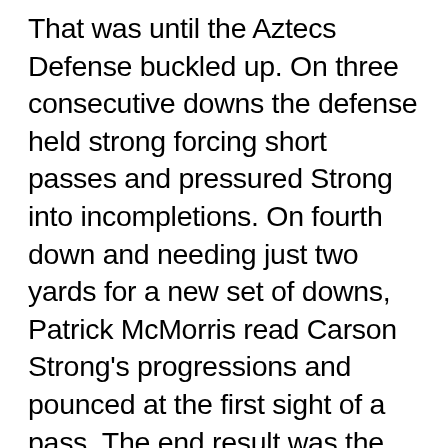That was until the Aztecs Defense buckled up. On three consecutive downs the defense held strong forcing short passes and pressured Strong into incompletions. On fourth down and needing just two yards for a new set of downs, Patrick McMorris read Carson Strong's progressions and pounced at the first sight of a pass. The end result was the conclusion of one of the best defensive stances of the season. McMorris got on his horse and rode straight towards the open receiver. When the pass reached the Wolfpack waiting for the catch, McMorris reached him just the same.
Patrick played it to perfection—providing plurality on the occasion to disable his...